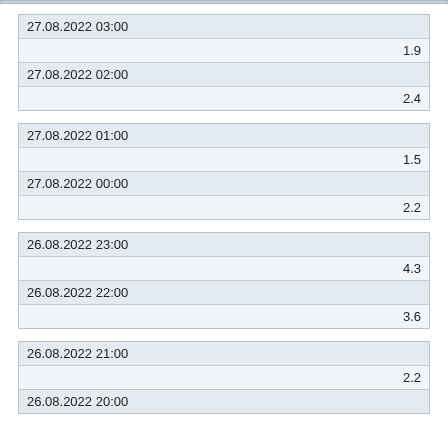| 27.08.2022 03:00 | 1.9 |
| 27.08.2022 02:00 | 2.4 |
| 27.08.2022 01:00 | 1.5 |
| 27.08.2022 00:00 | 2.2 |
| 26.08.2022 23:00 | 4.3 |
| 26.08.2022 22:00 | 3.6 |
| 26.08.2022 21:00 | 2.2 |
| 26.08.2022 20:00 |  |